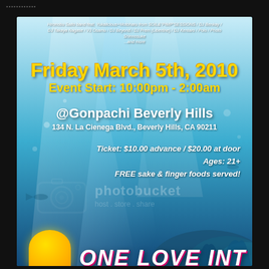▪▪▪▪▪▪▪▪▪▪▪▪
[Figure (illustration): Event flyer with underwater ocean background in blue tones with coral reef elements. Contains event details for a party at Gonpachi Beverly Hills.]
Hironobu Saito band feat. Yukalicious+Motoharu from SOIL&"PIMP"SESSIONS / DJ Benkay / DJ Takaya Nagase / VJ Osamu / DJ Beyond / DJ Prem (Libertine) / DJ Kentaro / Polo / Photo Shinnosuke ...and more
Friday March 5th, 2010
Event Start: 10:00pm - 2:00am
@Gonpachi Beverly Hills
134 N. La Cienega Blvd., Beverly Hills, CA 90211
Ticket: $10.00 advance / $20.00 at door
Ages: 21+
FREE sake & finger foods served!
ONE LOVE INT...